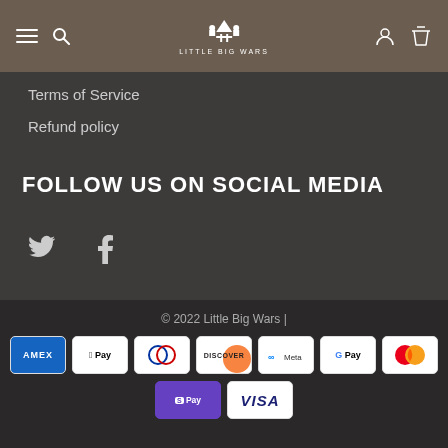Little Big Wars navigation bar with hamburger menu, search icon, logo, user icon, and cart icon
Terms of Service
Refund policy
FOLLOW US ON SOCIAL MEDIA
[Figure (other): Twitter bird icon and Facebook 'f' icon for social media links]
© 2022 Little Big Wars | Payment icons: AMEX, Apple Pay, Diners Club, Discover, Meta Pay, Google Pay, Mastercard, Shop Pay, VISA